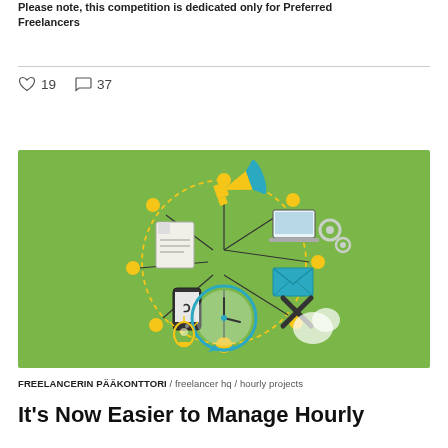Please note, this competition is dedicated only for Preferred Freelancers
♡ 19   ○ 37
[Figure (illustration): Green background illustration showing interconnected freelance/business icons: megaphone, laptop, envelope, clock, lightbulb, document, mobile device, and X mark, connected by yellow dotted network lines with yellow circle nodes.]
FREELANCERIN PÄÄKONTTORI / freelancer hq / hourly projects
It's Now Easier to Manage Hourly